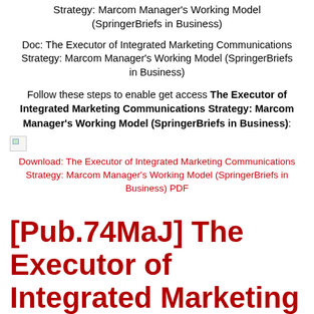Strategy: Marcom Manager’s Working Model (SpringerBriefs in Business)
Doc: The Executor of Integrated Marketing Communications Strategy: Marcom Manager’s Working Model (SpringerBriefs in Business)
Follow these steps to enable get access The Executor of Integrated Marketing Communications Strategy: Marcom Manager’s Working Model (SpringerBriefs in Business):
[Figure (other): Broken image icon placeholder]
Download: The Executor of Integrated Marketing Communications Strategy: Marcom Manager’s Working Model (SpringerBriefs in Business) PDF
[Pub.74MaJ] The Executor of Integrated Marketing